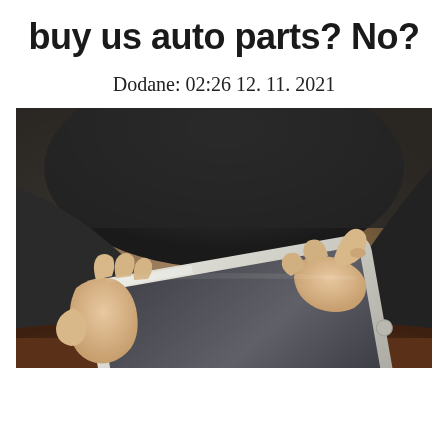buy us auto parts? No?
Dodane: 02:26 12. 11. 2021
[Figure (photo): A person sitting down using a tablet/iPad, tapping the screen with one finger. The person is wearing a dark jacket and brown pants. The photo is shot from a close-up angle focusing on the hands and tablet.]